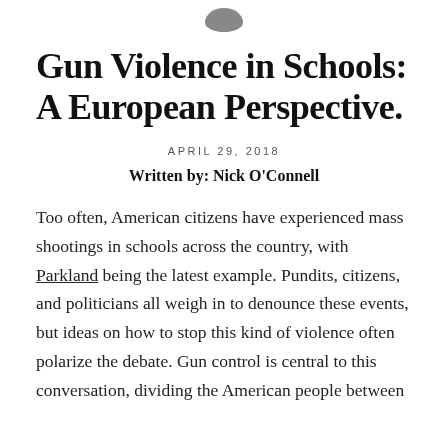[Figure (logo): Small gray rounded logo icon at top center]
Gun Violence in Schools: A European Perspective.
APRIL 29, 2018
Written by: Nick O'Connell
Too often, American citizens have experienced mass shootings in schools across the country, with Parkland being the latest example. Pundits, citizens, and politicians all weigh in to denounce these events, but ideas on how to stop this kind of violence often polarize the debate. Gun control is central to this conversation, dividing the American people between